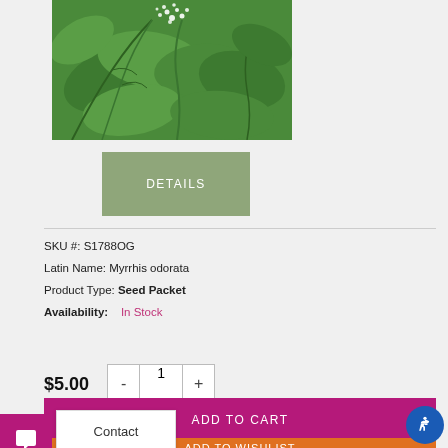[Figure (photo): Green leafy plant (Myrrhis odorata / Sweet Cicely) with white flower clusters, photographed from above]
DETAILS
SKU #: S1788OG
Latin Name: Myrrhis odorata
Product Type: Seed Packet
Availability: In Stock
$5.00
ADD TO CART
Contact
ADD TO WISHLIST